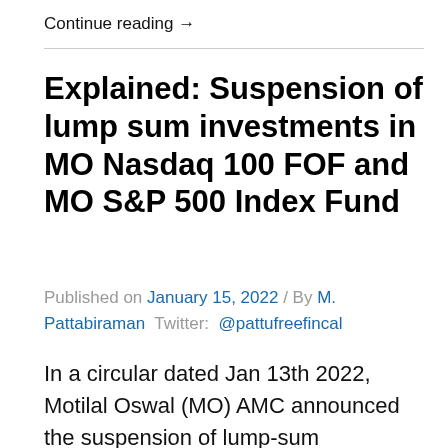Continue reading →
Explained: Suspension of lump sum investments in MO Nasdaq 100 FOF and MO S&P 500 Index Fund
Published on January 15, 2022 / By M. Pattabiraman Twitter: @pattufreefincal
In a circular dated Jan 13th 2022, Motilal Oswal (MO) AMC announced the suspension of lump-sum investments and switch in (from other funds) into